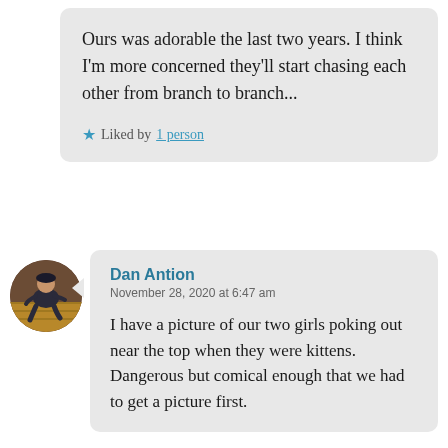Ours was adorable the last two years. I think I'm more concerned they'll start chasing each other from branch to branch...
★ Liked by 1 person
[Figure (photo): Circular avatar photo of Dan Antion, a person sitting on a wooden floor]
Dan Antion
November 28, 2020 at 6:47 am
I have a picture of our two girls poking out near the top when they were kittens. Dangerous but comical enough that we had to get a picture first.